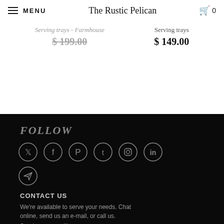MENU | The Rustic Pelican | 0
Serving trays - Farmhouse · $ 199.00 (strikethrough)
Serving trays · $ 149.00
FOLLOW
[Figure (other): Social media icons in circles: Twitter, Facebook, Pinterest, Tumblr, Instagram, LinkedIn, and a Telegram/send icon]
CONTACT US
We're available to serve your needs. Chat online, send us an e-mail, or call us.
Send us an email!